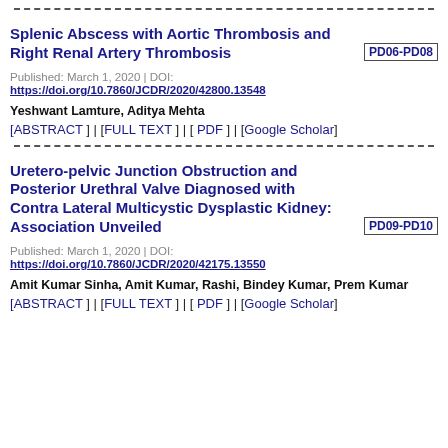Splenic Abscess with Aortic Thrombosis and Right Renal Artery Thrombosis PD06-PD08
Published: March 1, 2020 | DOI: https://doi.org/10.7860/JCDR/2020/42800.13548
Yeshwant Lamture, Aditya Mehta
[ABSTRACT ] | [FULL TEXT ] | [ PDF ] | [Google Scholar]
Uretero-pelvic Junction Obstruction and Posterior Urethral Valve Diagnosed with Contra Lateral Multicystic Dysplastic Kidney: Association Unveiled PD09-PD10
Published: March 1, 2020 | DOI: https://doi.org/10.7860/JCDR/2020/42175.13550
Amit Kumar Sinha, Amit Kumar, Rashi, Bindey Kumar, Prem Kumar
[ABSTRACT ] | [FULL TEXT ] | [ PDF ] | [Google Scholar]